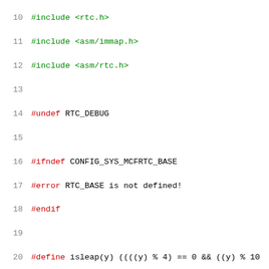Source code snippet: C preprocessor directives and function definition for RTC (Real-Time Clock) module. Lines 10-31 showing #include statements, #undef, #ifndef/#error/#endif block, #define macros, and int rtc_get function beginning.